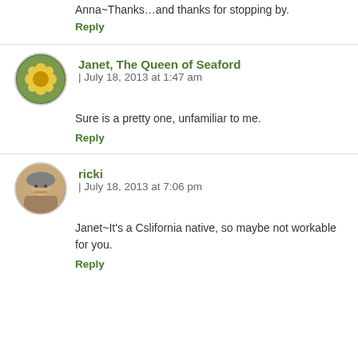Anna~Thanks…and thanks for stopping by.
Reply
Janet, The Queen of Seaford | July 18, 2013 at 1:47 am
Sure is a pretty one, unfamiliar to me.
Reply
ricki | July 18, 2013 at 7:06 pm
Janet~It's a Cslifornia native, so maybe not workable for you.
Reply